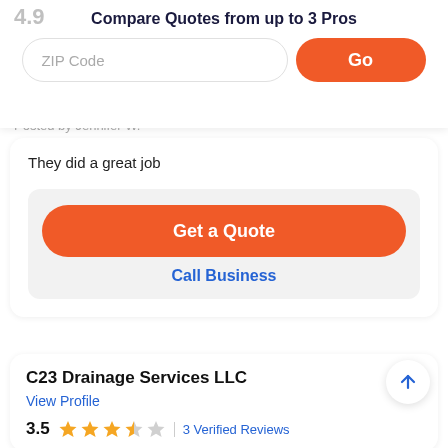Compare Quotes from up to 3 Pros
Posted by Jennifer W.
They did a great job
Get a Quote
Call Business
C23 Drainage Services LLC
View Profile
3.5  3 Verified Reviews